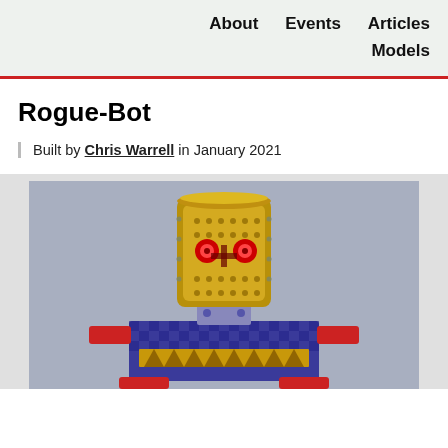About   Events   Articles   Models
Rogue-Bot
Built by Chris Warrell in January 2021
[Figure (photo): Photo of Rogue-Bot robot model built by Chris Warrell in January 2021. The robot has a cylindrical gold/brass head with red eyes and perforations, sitting atop a blue and gold body with decorative cross-hatch and triangular patterns.]